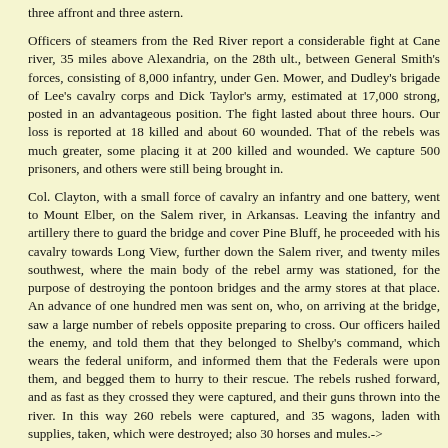three affront and three astern.
Officers of steamers from the Red River report a considerable fight at Cane river, 35 miles above Alexandria, on the 28th ult., between General Smith's forces, consisting of 8,000 infantry, under Gen. Mower, and Dudley's brigade of Lee's cavalry corps and Dick Taylor's army, estimated at 17,000 strong, posted in an advantageous position. The fight lasted about three hours. Our loss is reported at 18 killed and about 60 wounded. That of the rebels was much greater, some placing it at 200 killed and wounded. We capture 500 prisoners, and others were still being brought in.
Col. Clayton, with a small force of cavalry an infantry and one battery, went to Mount Elber, on the Salem river, in Arkansas. Leaving the infantry and artillery there to guard the bridge and cover Pine Bluff, he proceeded with his cavalry towards Long View, further down the Salem river, and twenty miles southwest, where the main body of the rebel army was stationed, for the purpose of destroying the pontoon bridges and the army stores at that place. An advance of one hundred men was sent on, who, on arriving at the bridge, saw a large number of rebels opposite preparing to cross. Our officers hailed the enemy, and told them that they belonged to Shelby's command, which wears the federal uniform, and informed them that the Federals were upon them, and begged them to hurry to their rescue. The rebels rushed forward, and as fast as they crossed they were captured, and their guns thrown into the river. In this way 260 rebels were captured, and 35 wagons, laden with supplies, taken, which were destroyed; also 30 horses and mules.->